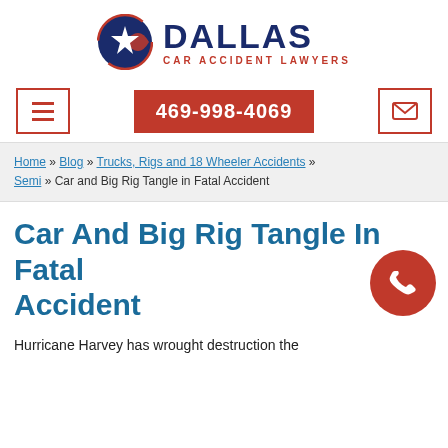[Figure (logo): Dallas Car Accident Lawyers logo: Texas flag circle with star, bold DALLAS text, red subtitle CAR ACCIDENT LAWYERS]
469-998-4069
Home » Blog » Trucks, Rigs and 18 Wheeler Accidents » Semi » Car and Big Rig Tangle in Fatal Accident
Car And Big Rig Tangle In Fatal Accident
Hurricane Harvey has wrought destruction the